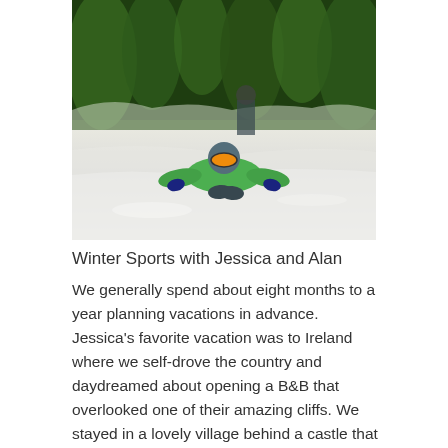[Figure (photo): Person in a green jacket and orange ski goggles lying in the snow at a ski resort, with snow-covered trees in the background.]
Winter Sports with Jessica and Alan
We generally spend about eight months to a year planning vacations in advance. Jessica's favorite vacation was to Ireland where we self-drove the country and daydreamed about opening a B&B that overlooked one of their amazing cliffs. We stayed in a lovely village behind a castle that was reminiscent of Harry's neighborhood in the Harry Potter series. Alan's favorite vacation was to Africa where we went on Safari and dove with great white sharks. Typically, the traditional souvenir we will purchase for ourselves is a picture frame. We both agree that we want to spend more time in Europe, Asia, and exploring the US by